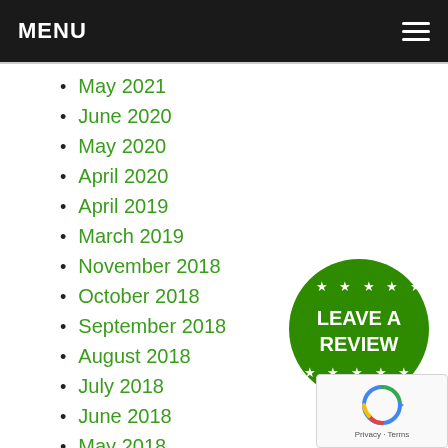MENU
May 2021
June 2020
May 2020
April 2020
April 2019
March 2019
November 2018
October 2018
September 2018
August 2018
July 2018
June 2018
May 2018
February 2018
January 2018
December 2017
[Figure (logo): Green circular badge with stars and text LEAVE A REVIEW]
[Figure (screenshot): reCAPTCHA widget with Privacy and Terms links]